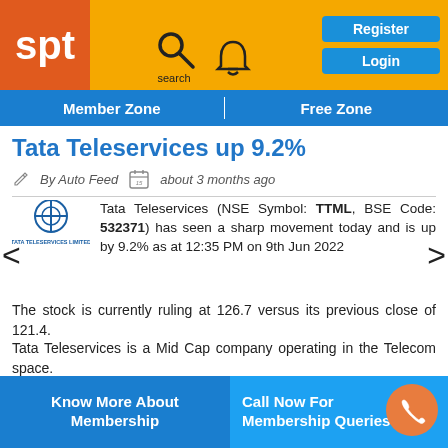spt | Register | Login | Member Zone | Free Zone
Tata Teleservices up 9.2%
By Auto Feed   about 3 months ago
Tata Teleservices (NSE Symbol: TTML, BSE Code: 532371) has seen a sharp movement today and is up by 9.2% as at 12:35 PM on 9th Jun 2022
The stock is currently ruling at 126.7 versus its previous close of 121.4.
Tata Teleservices is a Mid Cap company operating in the Telecom space.
(N... Know More About Membership | Call Now For Membership Queries